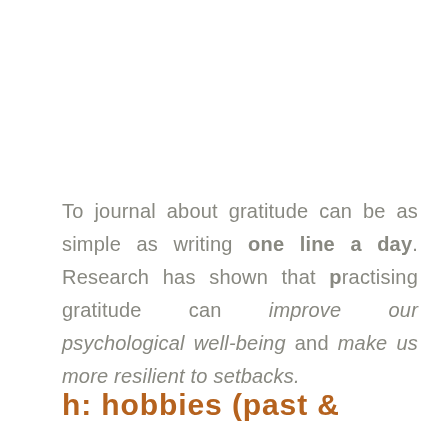To journal about gratitude can be as simple as writing one line a day. Research has shown that practising gratitude can improve our psychological well-being and make us more resilient to setbacks.
h: hobbies (past &